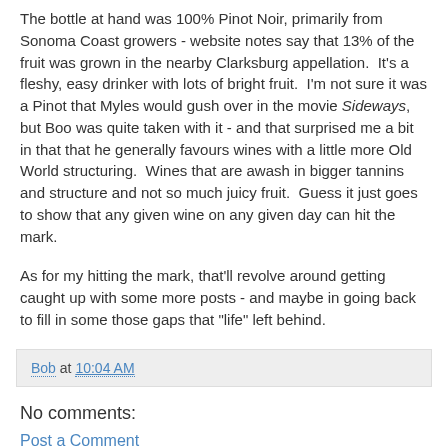The bottle at hand was 100% Pinot Noir, primarily from Sonoma Coast growers - website notes say that 13% of the fruit was grown in the nearby Clarksburg appellation.  It's a fleshy, easy drinker with lots of bright fruit.  I'm not sure it was a Pinot that Myles would gush over in the movie Sideways, but Boo was quite taken with it - and that surprised me a bit in that that he generally favours wines with a little more Old World structuring.  Wines that are awash in bigger tannins and structure and not so much juicy fruit.  Guess it just goes to show that any given wine on any given day can hit the mark.
As for my hitting the mark, that'll revolve around getting caught up with some more posts - and maybe in going back to fill in some those gaps that "life" left behind.
Bob at 10:04 AM
No comments:
Post a Comment